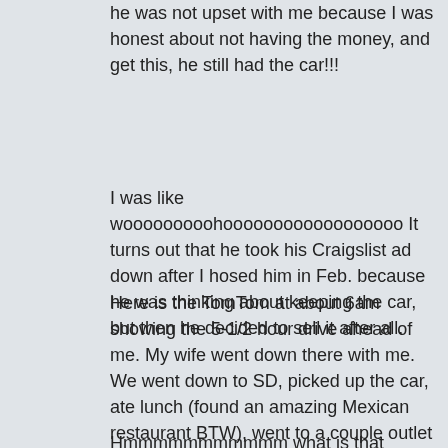he was not upset with me because I was honest about not having the money, and get this, he still had the car!!!
I was like wooooooooohoooooooooooooooooo It turns out that he took his Craigslist ad down after I hosed him in Feb. because he was thinking about keeping the car, but then he decided to sell it after all.
Here is the TomTom at about 6am showing the 5-1/2 hour drive ahead of me. My wife went down there with me. We went down to SD, picked up the car, ate lunch (found an amazing Mexican restaurant BTW), went to a couple outlet stores, and got back home before midnight. It was a LONG day.
Hmmmmmmmmmmm what is that